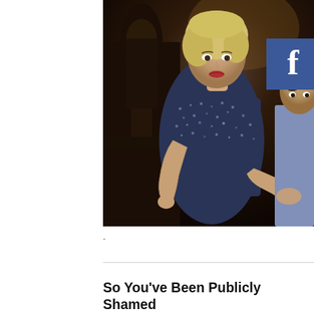[Figure (photo): Promotional photo of two people (a blonde woman in a dark floral/speckled shirt leaning on a dark ornate banister, and a man in a light blue shirt) in a dramatic interior setting. A Facebook social share button overlay appears in the top-right corner of the image.]
.
So You've Been Publicly Shamed